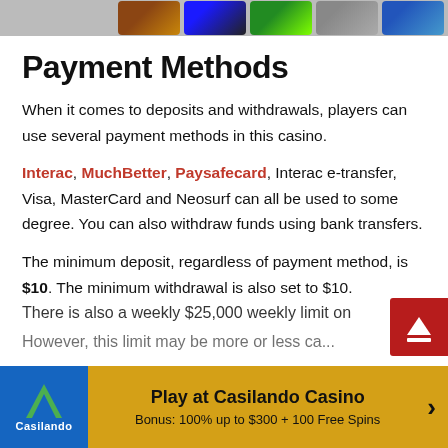[Figure (screenshot): Top banner showing casino game thumbnails: slots and casino game icons in a horizontal strip]
Payment Methods
When it comes to deposits and withdrawals, players can use several payment methods in this casino.
Interac, MuchBetter, Paysafecard, Interac e-transfer, Visa, MasterCard and Neosurf can all be used to some degree. You can also withdraw funds using bank transfers.
The minimum deposit, regardless of payment method, is $10. The minimum withdrawal is also set to $10. There is also a weekly $25,000 weekly limit on
However, this limit may be...
[Figure (screenshot): Scroll-to-top button with red background and up arrow]
Play at Casilando Casino
Bonus: 100% up to $300 + 100 Free Spins